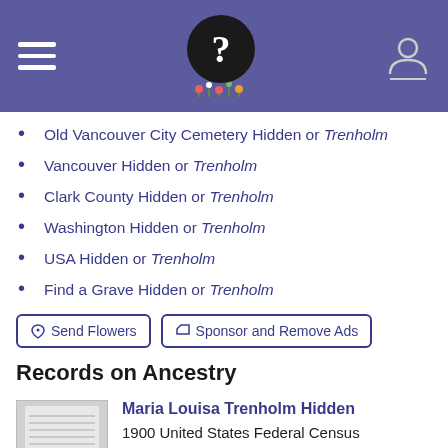Find a Grave (header with logo and menu)
Old Vancouver City Cemetery Hidden or Trenholm
Vancouver Hidden or Trenholm
Clark County Hidden or Trenholm
Washington Hidden or Trenholm
USA Hidden or Trenholm
Find a Grave Hidden or Trenholm
Send Flowers | Sponsor and Remove Ads
Records on Ancestry
Maria Louisa Trenholm Hidden
1900 United States Federal Census
Maria Louisa Trenholm Hidden
1880 United States Federal Census